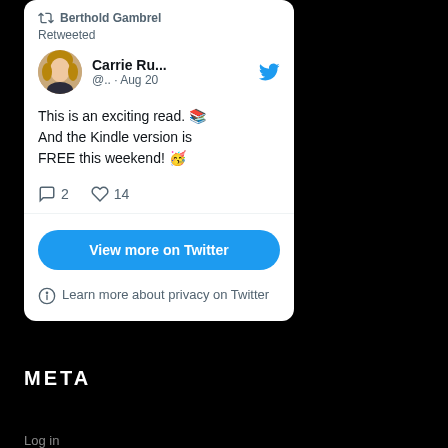[Figure (screenshot): Twitter/social media widget embedded in a webpage showing a retweet by Berthold Gambrel of a tweet by Carrie Ru... (@..) from Aug 20, saying 'This is an exciting read. 📚 And the Kindle version is FREE this weekend! 🥳' with 2 replies and 14 likes, a 'View more on Twitter' blue button, and a 'Learn more about privacy on Twitter' link.]
META
Log in